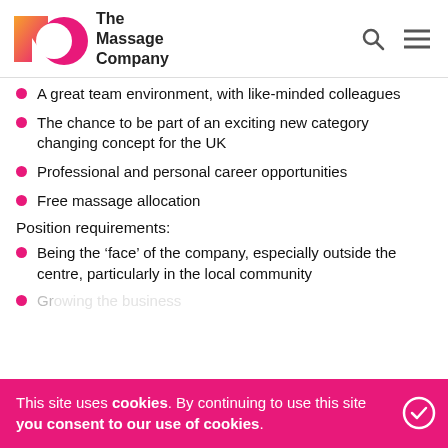The Massage Company
A great team environment, with like-minded colleagues
The chance to be part of an exciting new category changing concept for the UK
Professional and personal career opportunities
Free massage allocation
Position requirements:
Being the ‘face’ of the company, especially outside the centre, particularly in the local community
Growing the business
Apply for this job now ›
This site uses cookies. By continuing to use this site you consent to our use of cookies.